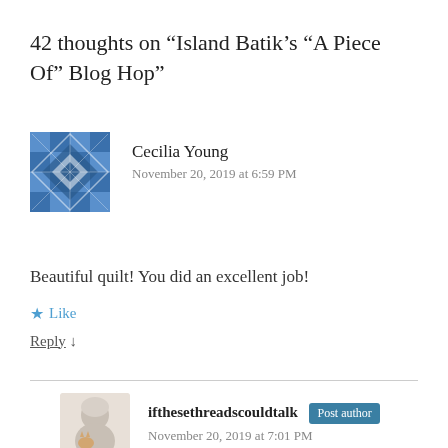42 thoughts on “Island Batik’s “A Piece Of” Blog Hop”
Cecilia Young
November 20, 2019 at 6:59 PM
Beautiful quilt! You did an excellent job!
★ Like
Reply ↓
ifthesethreadscouldtalk  Post author
November 20, 2019 at 7:01 PM